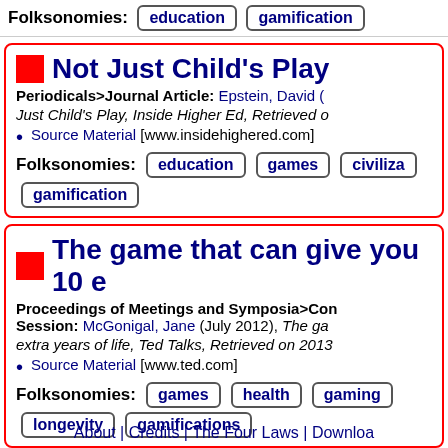Folksonomies: education gamification
Not Just Child's Play
Periodicals>Journal Article: Epstein, David (
Just Child's Play, Inside Higher Ed, Retrieved o
Source Material [www.insidehighered.com]
Folksonomies: education games civiliza gamification
The game that can give you 10 e
Proceedings of Meetings and Symposia>Con Session: McGonigal, Jane (July 2012), The ga extra years of life, Ted Talks, Retrieved on 2013
Source Material [www.ted.com]
Folksonomies: games health gaming longevity gamifications
About | Credits | The Four Laws | Downloa